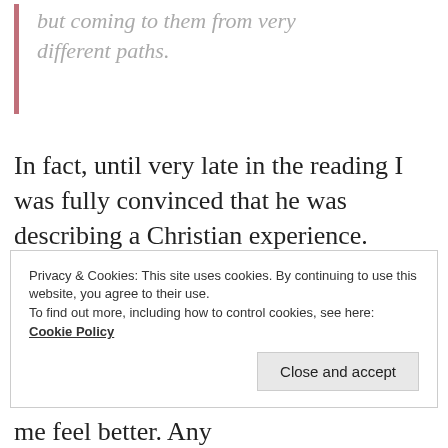but coming to them from very different paths.
In fact, until very late in the reading I was fully convinced that he was describing a Christian experience. Mostly everything written would describe perfectly how my life was changed after truly discovering Christ.
Privacy & Cookies: This site uses cookies. By continuing to use this website, you agree to their use.
To find out more, including how to control cookies, see here: Cookie Policy
Close and accept
me feel better. Any